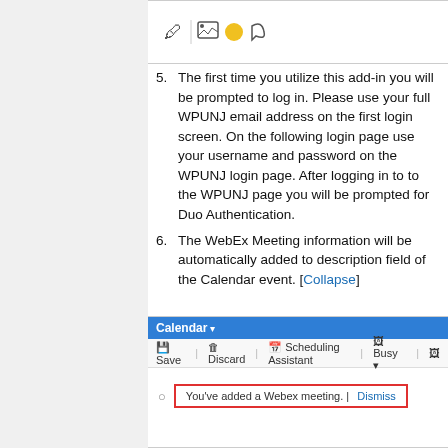[Figure (screenshot): Top portion of an Outlook toolbar screenshot showing icons including an image icon, yellow circle (emoji), and another icon]
5. The first time you utilize this add-in you will be prompted to log in. Please use your full WPUNJ email address on the first login screen. On the following login page use your username and password on the WPUNJ login page. After logging in to to the WPUNJ page you will be prompted for Duo Authentication.
6. The WebEx Meeting information will be automatically added to description field of the Calendar event. [Collapse]
[Figure (screenshot): Outlook Calendar event window showing a blue 'Calendar' toolbar with Save, Discard, Scheduling Assistant, Busy buttons, and a notification box saying 'You've added a Webex meeting. | Dismiss' with a red border]